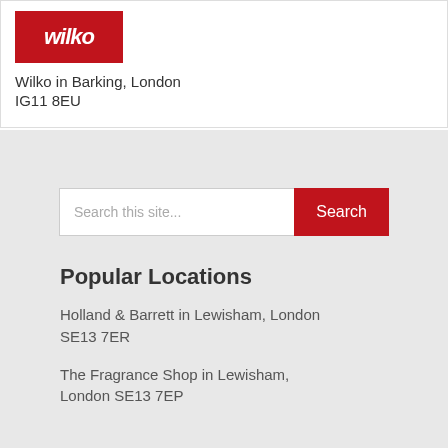[Figure (logo): Wilko logo — white italic text on red background]
Wilko in Barking, London
IG11 8EU
Search this site...
Popular Locations
Holland & Barrett in Lewisham, London SE13 7ER
The Fragrance Shop in Lewisham, London SE13 7EP